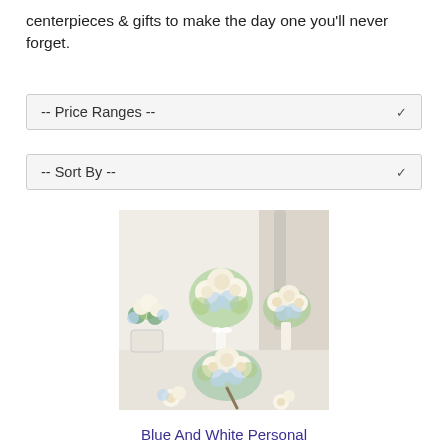centerpieces & gifts to make the day one you'll never forget.
-- Price Ranges --
-- Sort By --
[Figure (photo): Wedding flower arrangement featuring multiple bouquets of white roses and blue hydrangeas, including a tall bridal bouquet and several smaller bouquets arranged on a white table.]
Blue And White Personal Package (1 Blue Bridal